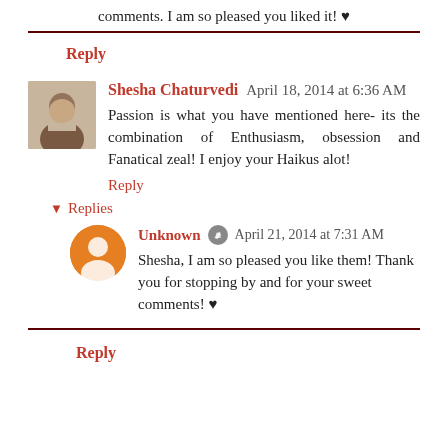comments. I am so pleased you liked it! ♥
Reply
Shesha Chaturvedi  April 18, 2014 at 6:36 AM
Passion is what you have mentioned here- its the combination of Enthusiasm, obsession and Fanatical zeal! I enjoy your Haikus alot!
Reply
▾ Replies
Unknown  April 21, 2014 at 7:31 AM
Shesha, I am so pleased you like them! Thank you for stopping by and for your sweet comments! ♥
Reply